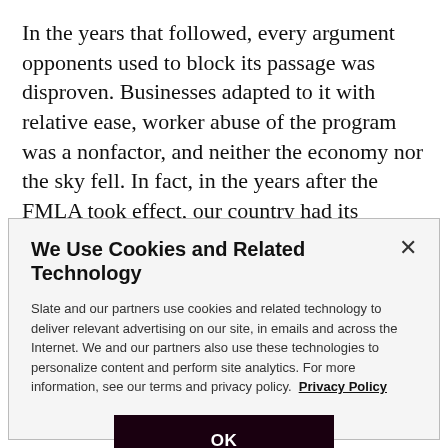In the years that followed, every argument opponents used to block its passage was disproven. Businesses adapted to it with relative ease, worker abuse of the program was a nonfactor, and neither the economy nor the sky fell. In fact, in the years after the FMLA took effect, our country had its strongest peacetime economy in history.
We Use Cookies and Related Technology
Slate and our partners use cookies and related technology to deliver relevant advertising on our site, in emails and across the Internet. We and our partners also use these technologies to personalize content and perform site analytics. For more information, see our terms and privacy policy.  Privacy Policy